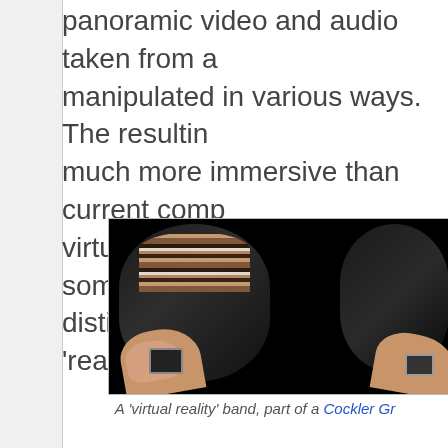panoramic video and audio taken from a … manipulated in various ways. The resulting … much more immersive than current comp… virtual environments and in some cases p… distinguish them from actually 'real' envir…
[Figure (photo): A virtual reality band: two fisheye-distorted side-by-side views of dark barrel-shaped objects with a person's hands reaching toward them holding a tablet-like device.]
A 'virtual reality' band, part of a Cockler Gr…